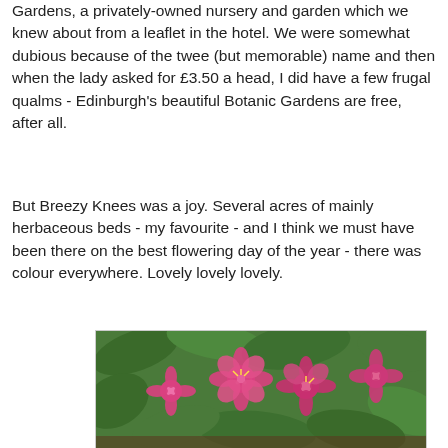Gardens, a privately-owned nursery and garden which we knew about from a leaflet in the hotel. We were somewhat dubious because of the twee (but memorable) name and then when the lady asked for £3.50 a head, I did have a few frugal qualms - Edinburgh's beautiful Botanic Gardens are free, after all.
But Breezy Knees was a joy. Several acres of mainly herbaceous beds - my favourite - and I think we must have been there on the best flowering day of the year - there was colour everywhere. Lovely lovely lovely.
[Figure (photo): A close-up photograph of bright pink alstroemeria flowers with green leaves, taken in a garden.]